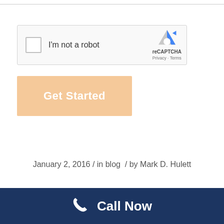[Figure (screenshot): reCAPTCHA widget with checkbox labeled 'I'm not a robot' and reCAPTCHA logo with Privacy and Terms links]
[Figure (screenshot): Orange 'Get Started' button]
January 2, 2016 / in blog / by Mark D. Hulett
Call Now